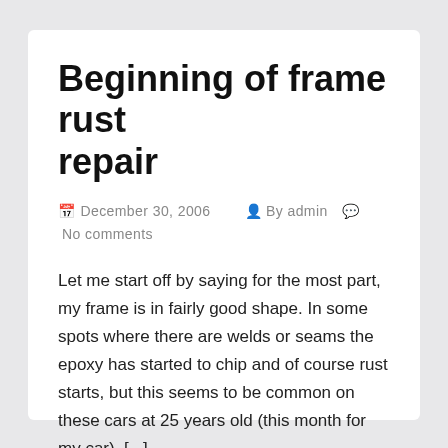Beginning of frame rust repair
📅 December 30, 2006   👤 By admin   💬 No comments
Let me start off by saying for the most part, my frame is in fairly good shape. In some spots where there are welds or seams the epoxy has started to chip and of course rust starts, but this seems to be common on these cars at 25 years old (this month for my car). [...]